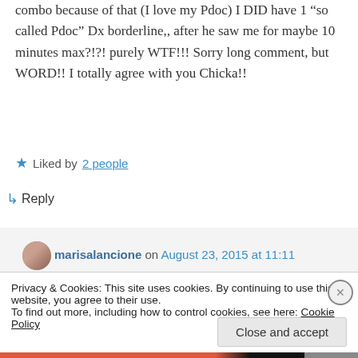combo because of that (I love my Pdoc) I DID have 1 “so called Pdoc” Dx borderline,, after he saw me for maybe 10 minutes max?!?! purely WTF!!! Sorry long comment, but WORD!! I totally agree with you Chicka!!
★ Liked by 2 people
↳ Reply
marisalancione on August 23, 2015 at 11:11
Privacy & Cookies: This site uses cookies. By continuing to use this website, you agree to their use. To find out more, including how to control cookies, see here: Cookie Policy
Close and accept